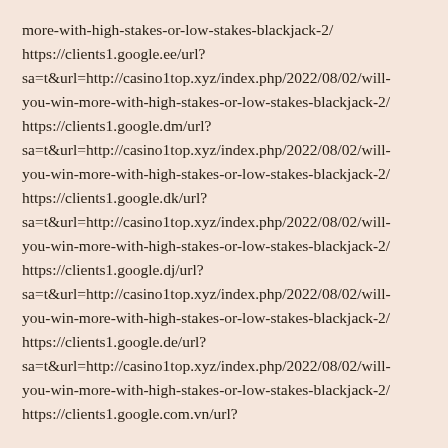more-with-high-stakes-or-low-stakes-blackjack-2/ https://clients1.google.ee/url? sa=t&url=http://casino1top.xyz/index.php/2022/08/02/will-you-win-more-with-high-stakes-or-low-stakes-blackjack-2/ https://clients1.google.dm/url? sa=t&url=http://casino1top.xyz/index.php/2022/08/02/will-you-win-more-with-high-stakes-or-low-stakes-blackjack-2/ https://clients1.google.dk/url? sa=t&url=http://casino1top.xyz/index.php/2022/08/02/will-you-win-more-with-high-stakes-or-low-stakes-blackjack-2/ https://clients1.google.dj/url? sa=t&url=http://casino1top.xyz/index.php/2022/08/02/will-you-win-more-with-high-stakes-or-low-stakes-blackjack-2/ https://clients1.google.de/url? sa=t&url=http://casino1top.xyz/index.php/2022/08/02/will-you-win-more-with-high-stakes-or-low-stakes-blackjack-2/ https://clients1.google.com.vn/url?